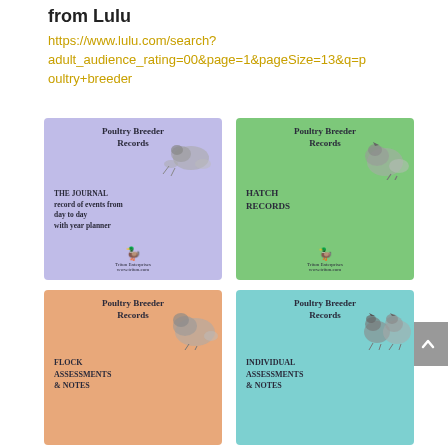from Lulu
https://www.lulu.com/search?adult_audience_rating=00&page=1&pageSize=13&q=poultry+breeder
[Figure (illustration): Four book covers for Poultry Breeder Records series displayed in a 2x2 grid. Top left: lavender cover with 'THE JOURNAL record of events from day to day with year planner'. Top right: green cover with 'HATCH RECORDS'. Bottom left: peach/salmon cover with 'FLOCK ASSESSMENTS & NOTES'. Bottom right: teal cover with 'INDIVIDUAL ASSESSMENTS & NOTES'. Each cover has the title 'Poultry Breeder Records' at top and a publisher logo at bottom.]